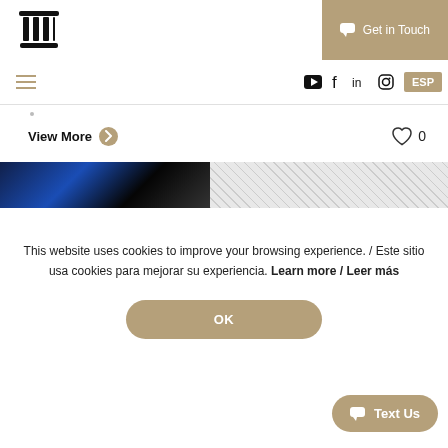[Figure (logo): Black pillar/columns logo icon]
Get in Touch
ESP
View More
0
[Figure (photo): Partial image strip showing blue/dark photo on left and hatched pattern on right]
This website uses cookies to improve your browsing experience. / Este sitio usa cookies para mejorar su experiencia. Learn more / Leer más
OK
Text Us